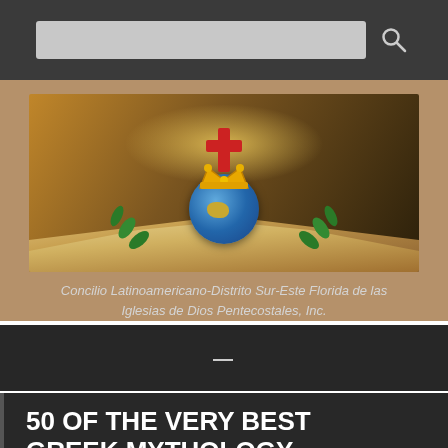[Figure (screenshot): Search bar with gray input field and search icon on dark background]
[Figure (illustration): Banner image showing an open Bible with a globe, golden crown, red cross, and green laurel leaves, against a warm glowing background]
Concilio Latinoamericano-Distrito Sur-Este Florida de las Iglesias de Dios Pentecostales, Inc.
[Figure (other): Dark horizontal banner with a small white dash/line in the center]
50 OF THE VERY BEST GREEK MYTHOLOGY